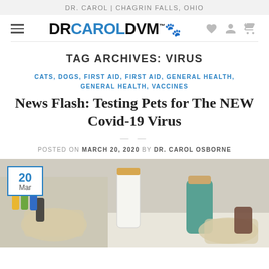DR. CAROL | CHAGRIN FALLS, OHIO
[Figure (logo): DrCarolDVM logo with paw print icon, hamburger menu icon, heart icon, user icon, and basket icon]
TAG ARCHIVES: VIRUS
CATS, DOGS, FIRST AID, FIRST AID, GENERAL HEALTH, GENERAL HEALTH, VACCINES
News Flash: Testing Pets for The NEW Covid-19 Virus
POSTED ON MARCH 20, 2020 BY DR. CAROL OSBORNE
[Figure (photo): Lab photo showing gloved hands working with laboratory vials and containers; date badge showing 20 Mar in blue border overlay]